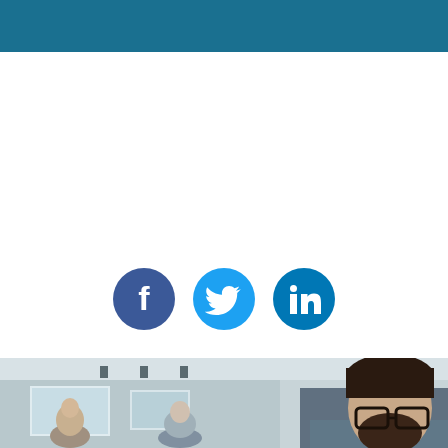[Figure (infographic): Three social media icon circles: Facebook (dark navy blue), Twitter (light blue), LinkedIn (medium blue), centered horizontally]
[Figure (photo): Office meeting scene: a man with glasses and beard in foreground, other colleagues in background, conference room setting]